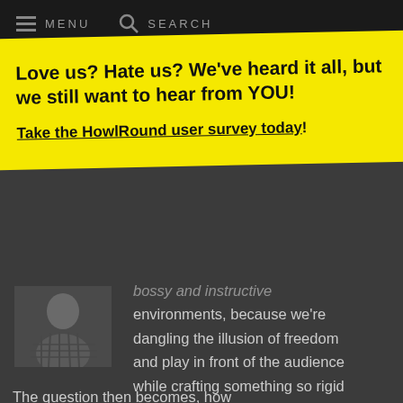MENU   SEARCH
[Figure (other): Yellow popup overlay with close button (X), bold headline and survey link]
bossy and instructive environments, because we're dangling the illusion of freedom and play in front of the audience while crafting something so rigid that if they bump into the "walls" of the experience, we shut them down.
The question then becomes, how